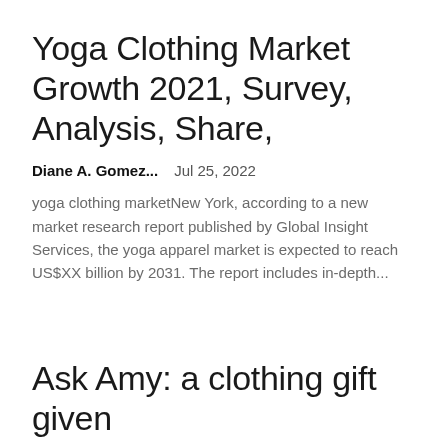Yoga Clothing Market Growth 2021, Survey, Analysis, Share,
Diane A. Gomez...    Jul 25, 2022
yoga clothing marketNew York, according to a new market research report published by Global Insight Services, the yoga apparel market is expected to reach US$XX billion by 2031. The report includes in-depth...
Ask Amy: a clothing gift given